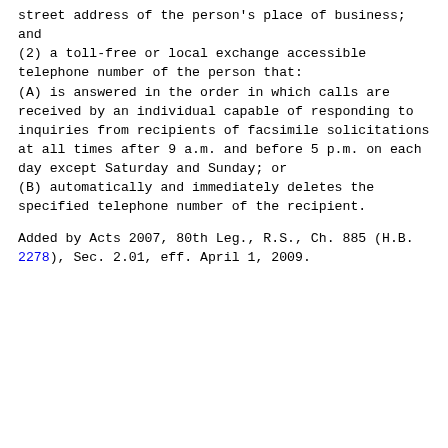street address of the person's place of business; and
(2)  a toll-free or local exchange accessible telephone number of the person that:
(A)  is answered in the order in which calls are received by an individual capable of responding to inquiries from recipients of facsimile solicitations at all times after 9 a.m. and before 5 p.m. on each day except Saturday and Sunday; or
(B)  automatically and immediately deletes the specified telephone number of the recipient.
Added by Acts 2007, 80th Leg., R.S., Ch. 885 (H.B. 2278), Sec. 2.01, eff. April 1, 2009.